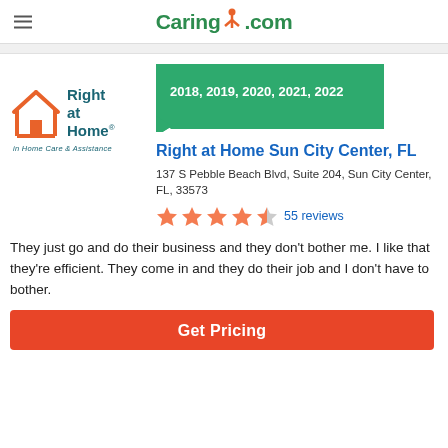Caring.com
[Figure (logo): Right at Home - In Home Care & Assistance logo with orange house icon and teal text]
[Figure (other): Green ribbon/badge showing award years 2018, 2019, 2020, 2021, 2022]
Right at Home Sun City Center, FL
137 S Pebble Beach Blvd, Suite 204, Sun City Center, FL, 33573
[Figure (other): 4.5 out of 5 stars rating - 55 reviews]
They just go and do their business and they don't bother me. I like that they're efficient. They come in and they do their job and I don't have to bother.
Get Pricing